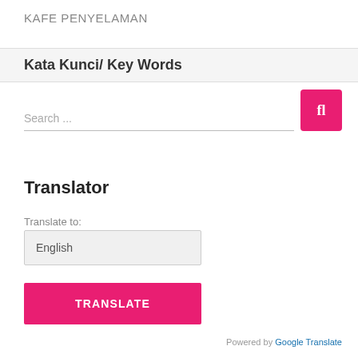KAFE PENYELAMAN
Kata Kunci/ Key Words
Search ...
Translator
Translate to:
English
TRANSLATE
Powered by Google Translate